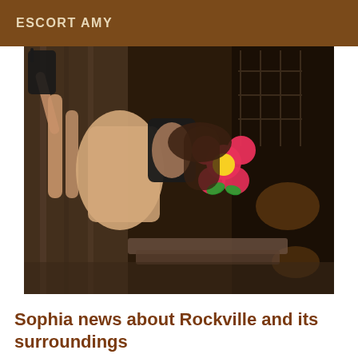ESCORT AMY
[Figure (photo): A person photographed sideways/rotated, wearing a black top and beige/tan skirt, holding a large pink flower accessory in front of their face, standing in a dimly lit indoor setting with decorative cage-like structures in the background.]
Sophia news about Rockville and its surroundings